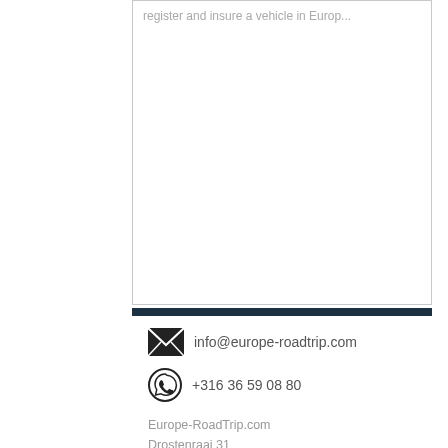register and insure a vehicle in Europ...
info@europe-roadtrip.com
+316 36 59 08 80
Europe-RoadTrip.com
Drostenraai 31
7914 RT, Noordscheschut
Emergency nr:  +316 1000 99 69
[Figure (illustration): Footer bar with email (pink envelope), WhatsApp (green), and map pin (green) icons]
[Figure (illustration): Facebook and Instagram social media circular icons in black]